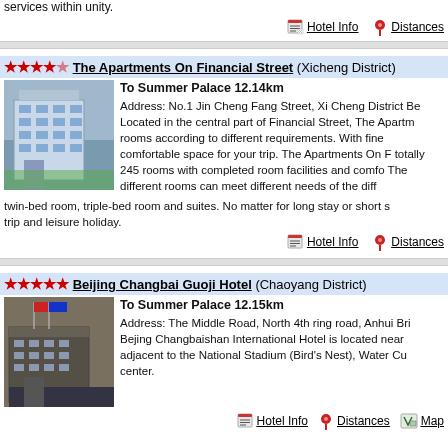services within unity.
Hotel Info   Distances
★★★★☆ The Apartments On Financial Street (Xicheng District)
To Summer Palace 12.14km
Address: No.1 Jin Cheng Fang Street, Xi Cheng District Be
Located in the central part of Financial Street, The Apartm rooms according to different requirements. With fine comfortable space for your trip. The Apartments On F totally 245 rooms with completed room facilities and comfo The different rooms can meet different needs of the diff twin-bed room, triple-bed room and suites. No matter for long stay or short s trip and leisure holiday.
Hotel Info   Distances
★★★★★ Beijing Changbai Guoji Hotel (Chaoyang District)
To Summer Palace 12.15km
Address: The Middle Road, North 4th ring road, Anhui Bri Bejing Changbaishan International Hotel is located near adjacent to the National Stadium (Bird's Nest), Water Cu center.
Hotel Info   Distances   Map